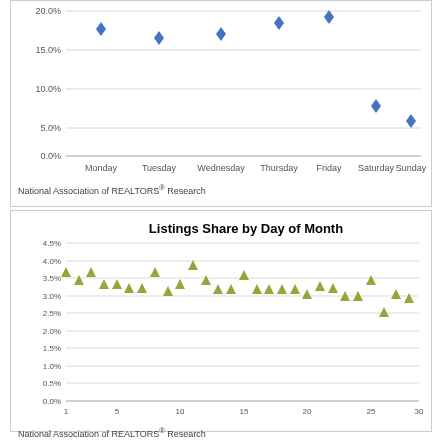[Figure (scatter-plot): ]
National Association of REALTORS® Research
[Figure (scatter-plot): Listings Share by Day of Month]
National Association of REALTORS® Research